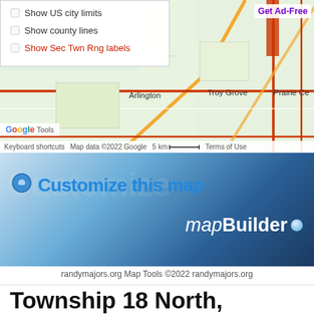[Figure (screenshot): Google Maps screenshot showing a region with checkboxes overlay: Show US city limits, Show county lines, Show Sec Twn Rng labels. Map shows Troy Grove, Prairie Ce, Arlington area with roads. Google branding and attribution bar visible.]
[Figure (screenshot): mapBuilder banner with Customize this map text and mapBuilder branding on blue gradient background with location pin icon.]
randymajors.org Map Tools ©2022 randymajors.org
Township 18 North, Range 11 East, 4th Principal Meridian, Illinois
View Township 18 North, Range 11 East, 4th Principal Meridian,